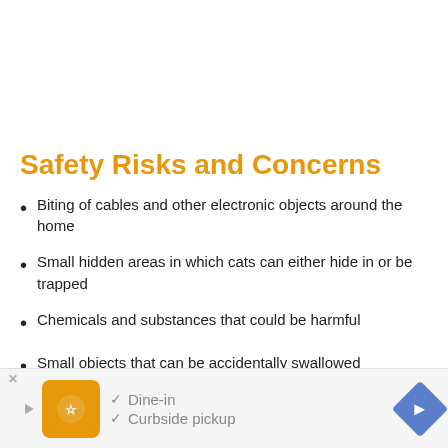Safety Risks and Concerns
Biting of cables and other electronic objects around the home
Small hidden areas in which cats can either hide in or be trapped
Chemicals and substances that could be harmful
Small objects that can be accidentally swallowed
Getting stepped on – this is a little bit more of a concern in a smaller space like apartments (especially